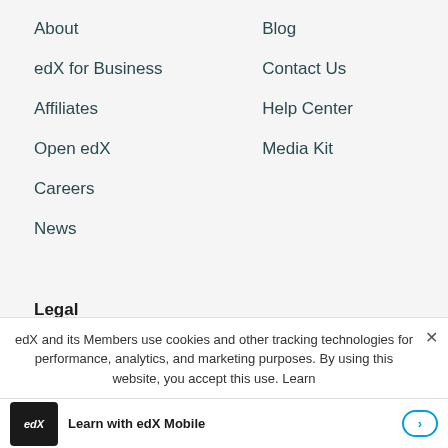About
Blog
edX for Business
Contact Us
Affiliates
Help Center
Open edX
Media Kit
Careers
News
Legal
Terms of Service & Honor Code
edX and its Members use cookies and other tracking technologies for performance, analytics, and marketing purposes. By using this website, you accept this use. Learn
Learn with edX Mobile